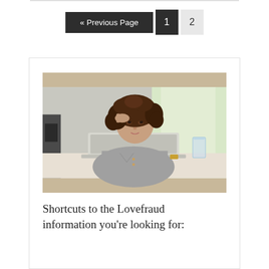« Previous Page  1  2
[Figure (photo): Woman with curly brown hair resting her head on her hand, sitting at a desk with a white laptop, looking tired or concerned. A glass of water is visible on the right. Bright window in the background.]
Shortcuts to the Lovefraud information you're looking for:
Explaining everyday sociopaths